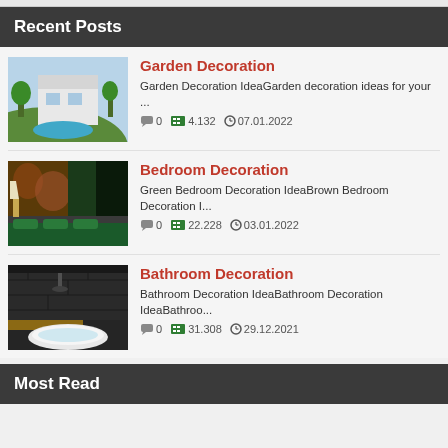Recent Posts
Garden Decoration — Garden Decoration IdeaGarden decoration ideas for your ... — 0 — 4.132 — 07.01.2022
Bedroom Decoration — Green Bedroom Decoration IdeaBrown Bedroom Decoration I... — 0 — 22.228 — 03.01.2022
Bathroom Decoration — Bathroom Decoration IdeaBathroom Decoration IdeaBathroo... — 0 — 31.308 — 29.12.2021
Most Read